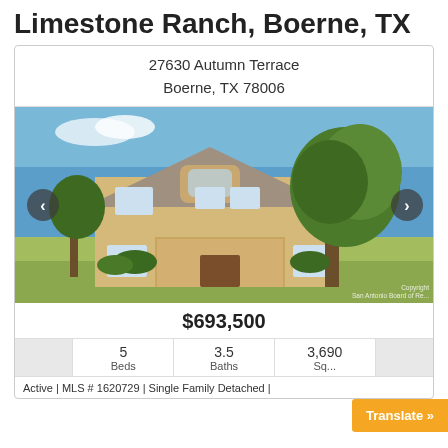Limestone Ranch, Boerne, TX
27630 Autumn Terrace
Boerne, TX 78006
[Figure (photo): Exterior photo of a two-story limestone house with a large tree, blue sky, and green lawn. Navigation arrows on left and right. Copyright watermark: San Antonio Board of Re...]
$693,500
|  | 5 Beds | 3.5 Baths | 3,690 Sq... |
| --- | --- | --- | --- |
Active | MLS # 1620729 | Single Family Detached |